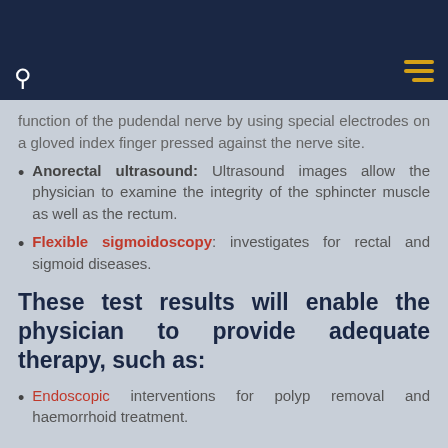function of the pudendal nerve by using special electrodes on a gloved index finger pressed against the nerve site.
Anorectal ultrasound: Ultrasound images allow the physician to examine the integrity of the sphincter muscle as well as the rectum.
Flexible sigmoidoscopy: investigates for rectal and sigmoid diseases.
These test results will enable the physician to provide adequate therapy, such as:
Endoscopic interventions for polyp removal and haemorrhoid treatment.